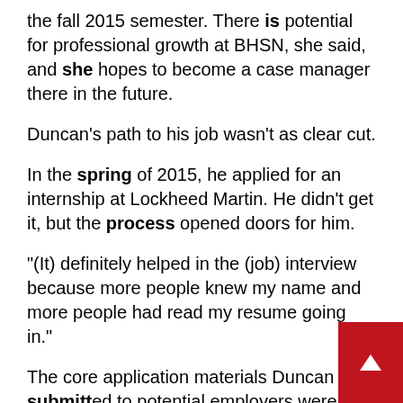the fall 2015 semester. There is potential for professional growth at BHSN, she said, and she hopes to become a case manager there in the future.
Duncan's path to his job wasn't as clear cut.
In the spring of 2015, he applied for an internship at Lockheed Martin. He didn't get it, but the process opened doors for him.
"(It) definitely helped in the (job) interview because more people knew my name and more people had read my resume going in."
The core application materials Duncan submitted to potential employers were crafted with the help of the staff at the SUNY Plattsburgh Career Development Center.